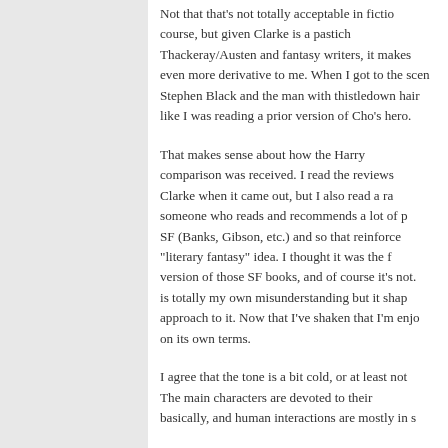Not that that's not totally acceptable in fiction of course, but given Clarke is a pastiche of Thackeray/Austen and fantasy writers, it makes it even more derivative to me. When I got to the scene of Stephen Black and the man with thistledown hair, I felt like I was reading a prior version of Cho's hero.
That makes sense about how the Harry comparison was received. I read the reviews of Clarke when it came out, but I also read a rave from someone who reads and recommends a lot of post-New-SF (Banks, Gibson, etc.) and so that reinforced the "literary fantasy" idea. I thought it was the fantasy version of those SF books, and of course it's not. Which is totally my own misunderstanding but it shaped my approach to it. Now that I've shaken that I'm enjoying it on its own terms.
I agree that the tone is a bit cold, or at least not warm. The main characters are devoted to their work basically, and human interactions are mostly in s